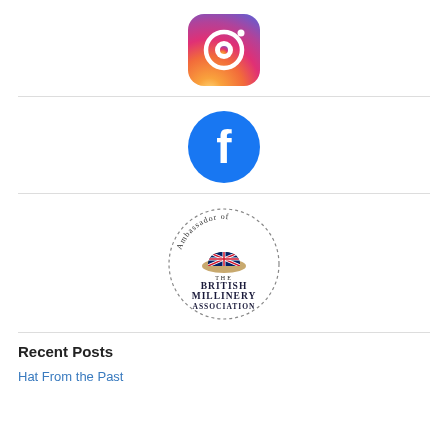[Figure (logo): Instagram logo icon — rounded square with gradient from orange/yellow to pink/purple, camera icon in white]
[Figure (logo): Facebook logo icon — blue circle with white lowercase 'f']
[Figure (logo): Ambassador of the British Millinery Association badge — circular dotted border with text and a hat with Union Jack design]
Recent Posts
Hat From the Past